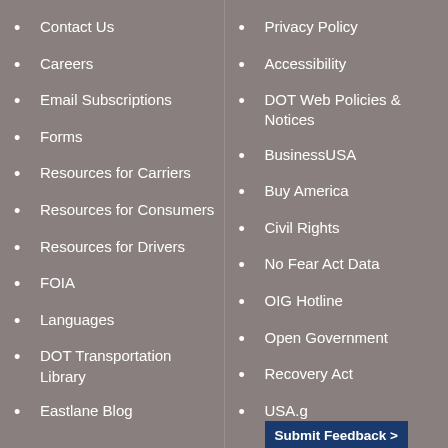Contact Us
Careers
Email Subscriptions
Forms
Resources for Carriers
Resources for Consumers
Resources for Drivers
FOIA
Languages
DOT Transportation Library
Eastlane Blog
Privacy Policy
Accessibility
DOT Web Policies & Notices
BusinessUSA
Buy America
Civil Rights
No Fear Act Data
OIG Hotline
Open Government
Recovery Act
USA.g